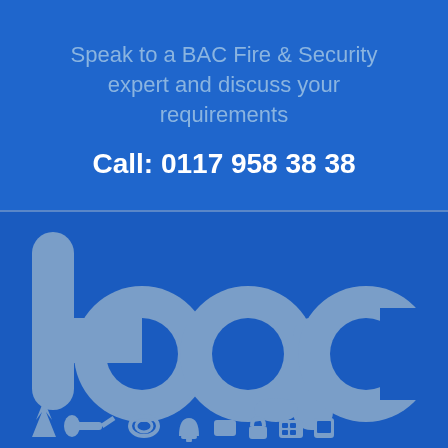Speak to a BAC Fire & Security expert and discuss your requirements
Call: 0117 958 38 38
[Figure (logo): BAC company logo in large lowercase letters 'bac' in muted blue-grey on a royal blue background, with small service icons along the bottom edge]